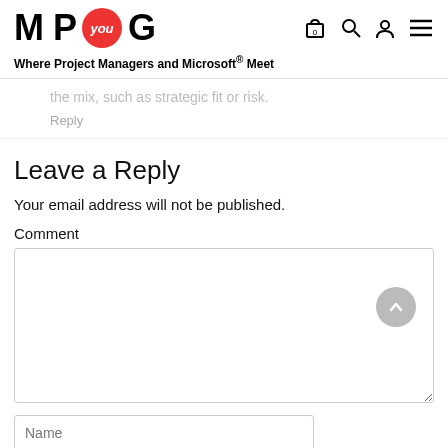M P you G — Where Project Managers and Microsoft® Meet
the mix, such as strategic fit or risk.
Reply
Leave a Reply
Your email address will not be published.
Comment
Name